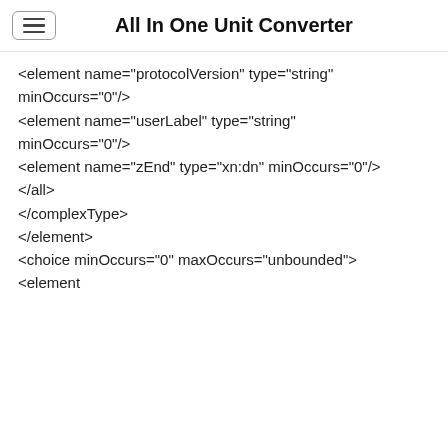All In One Unit Converter
<element name="protocolVersion" type="string" minOccurs="0"/>
<element name="userLabel" type="string" minOccurs="0"/>
<element name="zEnd" type="xn:dn" minOccurs="0"/>
</all>
</complexType>
</element>
<choice minOccurs="0" maxOccurs="unbounded">
<element